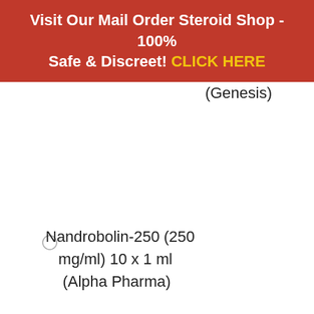Visit Our Mail Order Steroid Shop - 100% Safe & Discreet! CLICK HERE
(Genesis)
[Figure (other): Small circle icon or bullet graphic]
Nandrobolin-250 (250 mg/ml) 10 x 1 ml (Alpha Pharma)